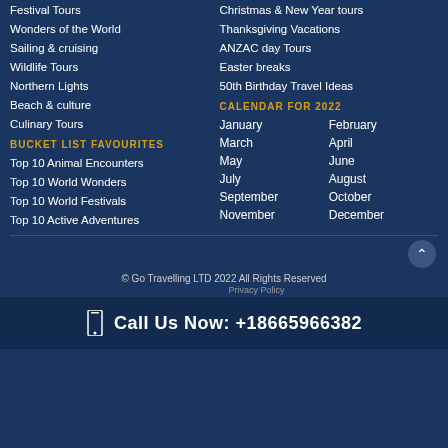Festival Tours
Wonders of the World
Sailing & cruising
Wildlife Tours
Northern Lights
Beach & culture
Culinary Tours
BUCKET LIST FAVOURITES
Top 10 Animal Encounters
Top 10 World Wonders
Top 10 World Festivals
Top 10 Active Adventures
Christmas & New Year tours
Thanksgiving Vacations
ANZAC day Tours
Easter breaks
50th Birthday Travel Ideas
CALENDAR FOR 2022
January
February
March
April
May
June
July
August
September
October
November
December
© Go Travelling LTD 2022 All Rights Reserved
Call Us Now: +18665966382